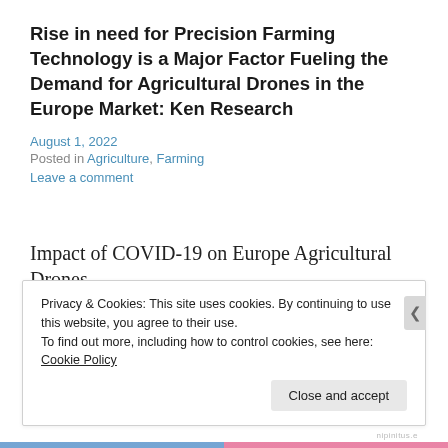Rise in need for Precision Farming Technology is a Major Factor Fueling the Demand for Agricultural Drones in the Europe Market: Ken Research
August 1, 2022
Posted in Agriculture, Farming
Leave a comment
Impact of COVID-19 on Europe Agricultural Drones
Privacy & Cookies: This site uses cookies. By continuing to use this website, you agree to their use.
To find out more, including how to control cookies, see here: Cookie Policy